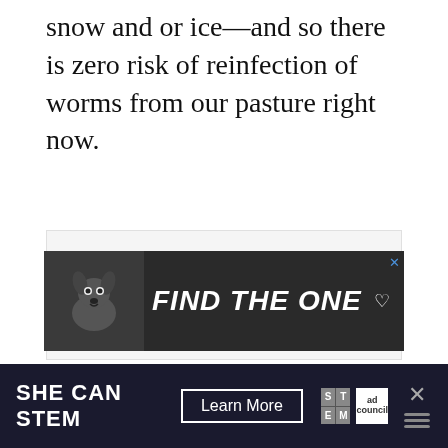snow and or ice—and so there is zero risk of reinfection of worms from our pasture right now.
[Figure (other): Advertisement banner with dark background showing a dog and text 'FIND THE ONE' with a heart symbol and close button]
[Figure (other): Footer advertisement bar for 'SHE CAN STEM' campaign with 'Learn More' button, STEM logo, Ad Council logo, and close X button]